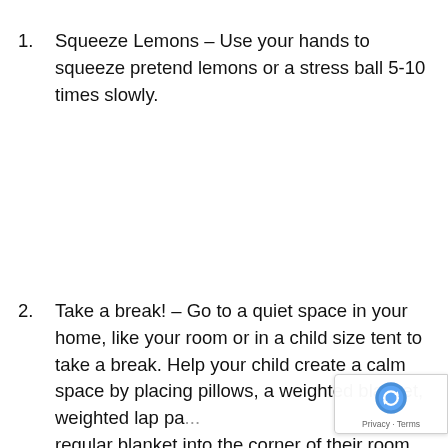1. Squeeze Lemons – Use your hands to squeeze pretend lemons or a stress ball 5-10 times slowly.
2. Take a break! – Go to a quiet space in your home, like your room or in a child size tent to take a break. Help your child create a calm space by placing pillows, a weighted blanket, weighted lap pa... regular blanket into the corner of their room small tent. They can practice other calming strategies here as well!